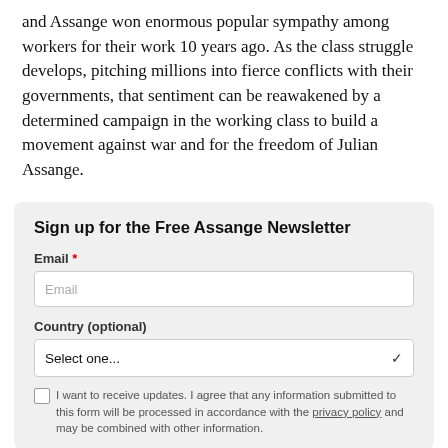and Assange won enormous popular sympathy among workers for their work 10 years ago. As the class struggle develops, pitching millions into fierce conflicts with their governments, that sentiment can be reawakened by a determined campaign in the working class to build a movement against war and for the freedom of Julian Assange.
Sign up for the Free Assange Newsletter
Email *
Country (optional)
I want to receive updates. I agree that any information submitted to this form will be processed in accordance with the privacy policy and may be combined with other information.